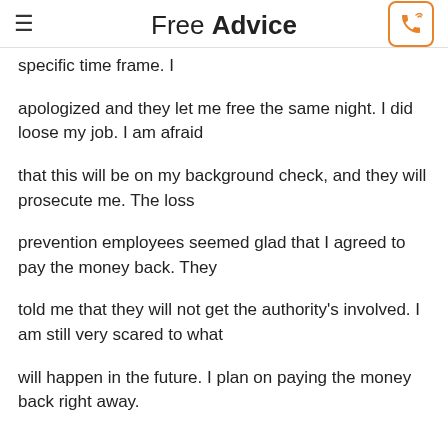Free Advice
specific time frame. I
apologized and they let me free the same night. I did loose my job. I am afraid
that this will be on my background check, and they will prosecute me. The loss
prevention employees seemed glad that I agreed to pay the money back. They
told me that they will not get the authority's involved. I am still very scared to what
will happen in the future. I plan on paying the money back right away.